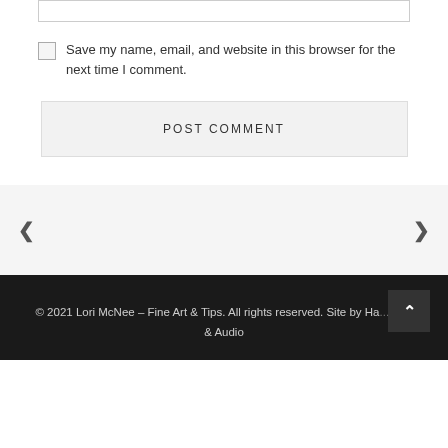Save my name, email, and website in this browser for the next time I comment.
POST COMMENT
< >
© 2021 Lori McNee – Fine Art & Tips. All rights reserved. Site by Ha... Web & Audio